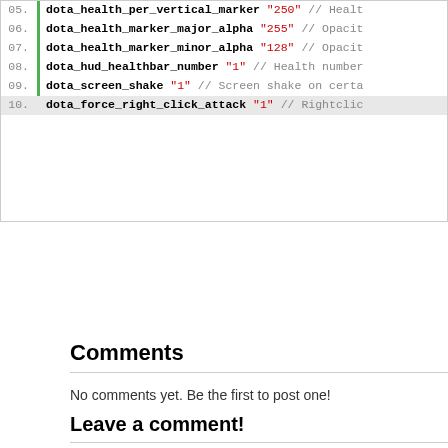05. dota_health_per_vertical_marker "250" // Health...
06. dota_health_marker_major_alpha "255" // Opacity...
07. dota_health_marker_minor_alpha "128" // Opacity...
08. dota_hud_healthbar_number "1" // Health number...
09. dota_screen_shake "1" // Screen shake on certa...
10. dota_force_right_click_attack "1" // Rightclic...
Comments
No comments yet. Be the first to post one!
Leave a comment!